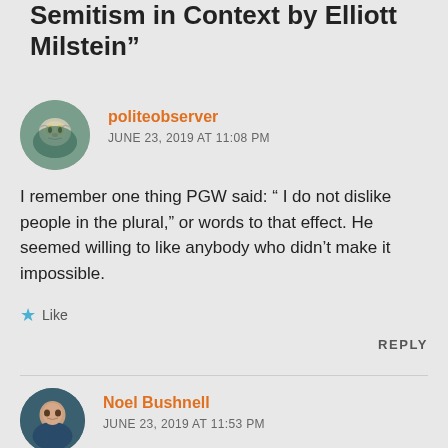Semitism in Context by Elliott Milstein”
politeobserver
JUNE 23, 2019 AT 11:08 PM
I remember one thing PGW said: “ I do not dislike people in the plural,” or words to that effect. He seemed willing to like anybody who didn’t make it impossible.
Like
REPLY
Noel Bushnell